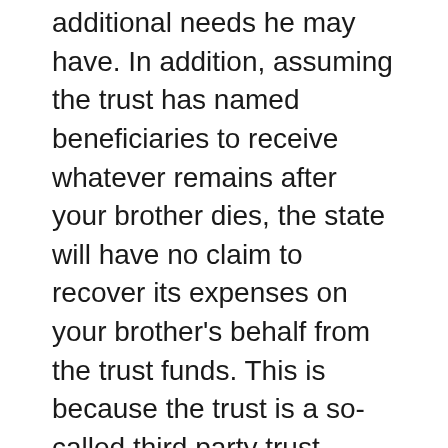additional needs he may have. In addition, assuming the trust has named beneficiaries to receive whatever remains after your brother dies, the state will have no claim to recover its expenses on your brother's behalf from the trust funds. This is because the trust is a so-called third party trust created by your parents. If the trust were created with your brother's funds, it would fall under completely different rules.
You reference the HEMS standard. This refers to common language in trusts meant to limit disbursements to purposes of the beneficiaries' health, education, maintenance and support. It derives from tax rules that say a beneficiary cannot